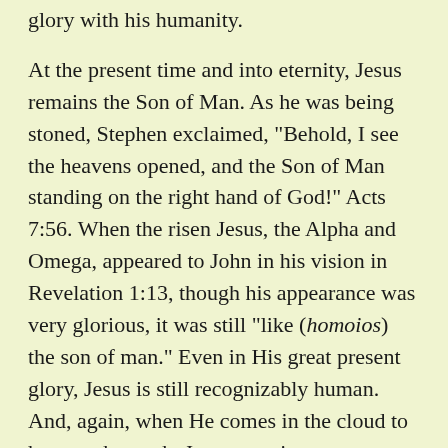glory with his humanity.
At the present time and into eternity, Jesus remains the Son of Man. As he was being stoned, Stephen exclaimed, "Behold, I see the heavens opened, and the Son of Man standing on the right hand of God!" Acts 7:56. When the risen Jesus, the Alpha and Omega, appeared to John in his vision in Revelation 1:13, though his appearance was very glorious, it was still "like (homoios) the son of man." Even in His great present glory, Jesus is still recognizably human. And, again, when He comes in the cloud to harvest the earth, Jesus remains recognizably human, like (homoios) the son of man. Revelation 14:14.
Finally, Jesus quite frequently referred to Himself as "Son of Man" in contexts dealing with His return and with the judgment of men. Thus, in Matthew